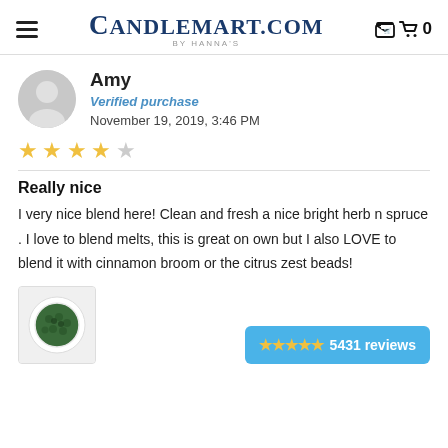CANDLEMART.COM by HANNA'S
Amy
Verified purchase
November 19, 2019, 3:46 PM
[Figure (other): 4.5 star rating (4 filled stars and 1 empty star)]
Really nice
I very nice blend here! Clean and fresh a nice bright herb n spruce . I love to blend melts, this is great on own but I also LOVE to blend it with cinnamon broom or the citrus zest beads!
[Figure (photo): Thumbnail image of green beads in a white container]
★★★★★ 5431 reviews